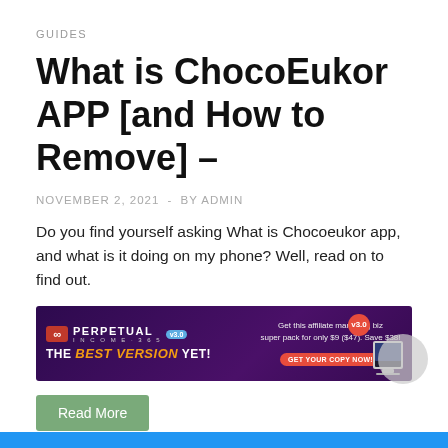GUIDES
What is ChocoEukor APP [and How to Remove] –
NOVEMBER 2, 2021  -  BY ADMIN
Do you find yourself asking What is Chocoeukor app, and what is it doing on my phone? Well, read on to find out.
[Figure (illustration): Perpetual Income 365 v3.0 affiliate marketing advertisement banner with dark purple background, infinity logo, bold orange text 'THE BEST VERSION YET!' and a call-to-action button.]
Read More